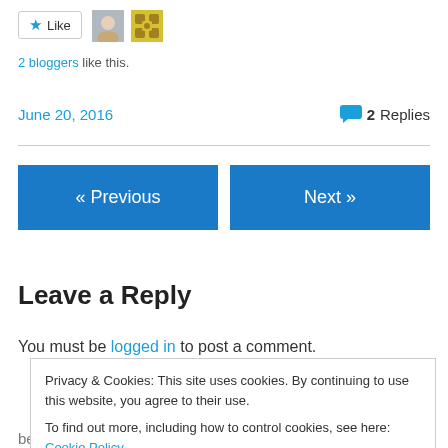[Figure (other): Like button with star icon, and two blogger avatar thumbnails beside it]
2 bloggers like this.
June 20, 2016   💬 2 Replies
« Previous
Next »
Leave a Reply
You must be logged in to post a comment.
Privacy & Cookies: This site uses cookies. By continuing to use this website, you agree to their use.
To find out more, including how to control cookies, see here: Cookie Policy
Close and accept
beloved ones. R.I.P. Paul.